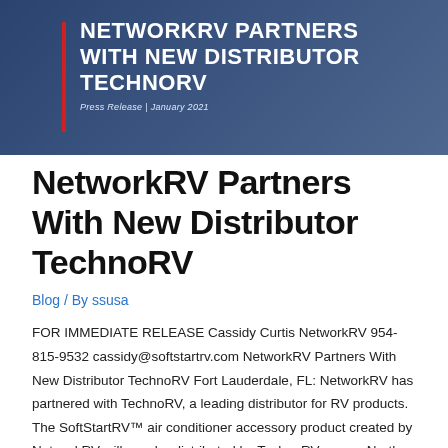[Figure (photo): Banner image with dark blue overlay showing two people shaking hands in the background. Contains a red vertical bar on the left side, bold white uppercase text reading 'NETWORKRV PARTNERS WITH NEW DISTRIBUTOR TECHNORV', and italic subtitle 'Press Release | January 2021'.]
NetworkRV Partners With New Distributor TechnoRV
Blog / By ssusa
FOR IMMEDIATE RELEASE Cassidy Curtis NetworkRV 954-815-9532 cassidy@softstartrv.com NetworkRV Partners With New Distributor TechnoRV Fort Lauderdale, FL: NetworkRV has partnered with TechnoRV, a leading distributor for RV products. The SoftStartRV™ air conditioner accessory product created by NetworkRV will now be distributed by TechnoRV across North America. “We are excited to welcome TechnoRV and their organization to the NetworkRV family.  With …